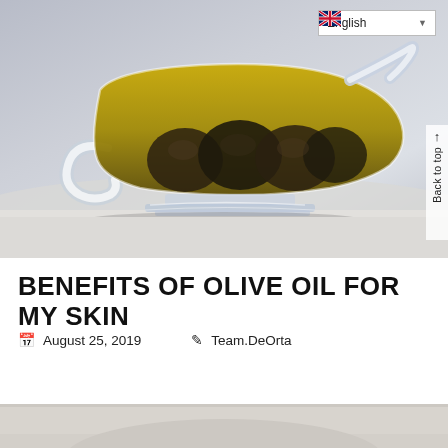[Figure (photo): A glass gravy boat filled with golden olive oil containing dark olives, photographed against a light gray-blue background. A language selector dropdown showing 'English' with a UK flag is in the top-right corner. A 'Back to top' sidebar element appears on the right edge.]
BENEFITS OF OLIVE OIL FOR MY SKIN
August 25, 2019   Team.DeOrta
[Figure (photo): Partial bottom image, appears to be another olive oil related photo, partially cropped.]